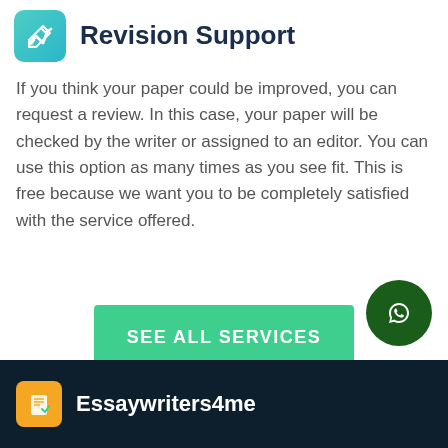Revision Support
If you think your paper could be improved, you can request a review. In this case, your paper will be checked by the writer or assigned to an editor. You can use this option as many times as you see fit. This is free because we want you to be completely satisfied with the service offered.
[Figure (other): Green 'SEE ALL SERVICES' button]
Essaywriters4me